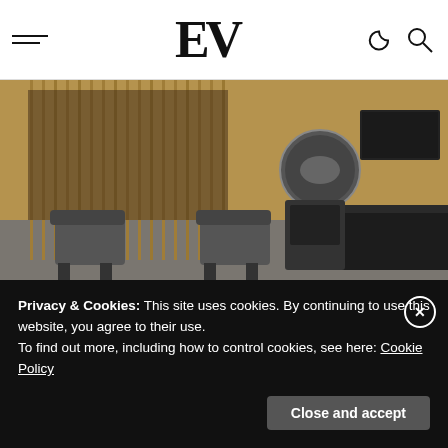EV — website navigation bar with hamburger menu, EV logo, moon/search icons
[Figure (photo): Interior of a modern showroom or lounge with wooden slatted partitions, dark lounge chairs, a circular wall display, and a TV screen on a dark reception counter.]
Advertisements
[Figure (other): Red advertisement banner with a circular badge icon and the text LONGBEADS or similar brand name in white letters.]
Privacy & Cookies: This site uses cookies. By continuing to use this website, you agree to their use.
To find out more, including how to control cookies, see here: Cookie Policy
Close and accept